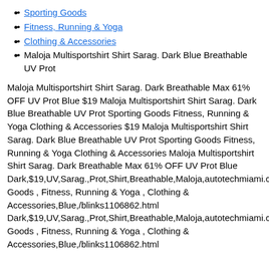Sporting Goods
Fitness, Running & Yoga
Clothing & Accessories
Maloja Multisportshirt Shirt Sarag. Dark Blue Breathable UV Prot
Maloja Multisportshirt Shirt Sarag. Dark Breathable Max 61% OFF UV Prot Blue $19 Maloja Multisportshirt Shirt Sarag. Dark Blue Breathable UV Prot Sporting Goods Fitness, Running & Yoga Clothing & Accessories $19 Maloja Multisportshirt Shirt Sarag. Dark Blue Breathable UV Prot Sporting Goods Fitness, Running & Yoga Clothing & Accessories Maloja Multisportshirt Shirt Sarag. Dark Breathable Max 61% OFF UV Prot Blue Dark,$19,UV,Sarag.,Prot,Shirt,Breathable,Maloja,autotechmiami.com Goods , Fitness, Running & Yoga , Clothing & Accessories,Blue,/blinks1106862.html Dark,$19,UV,Sarag.,Prot,Shirt,Breathable,Maloja,autotechmiami.com Goods , Fitness, Running & Yoga , Clothing & Accessories,Blue,/blinks1106862.html